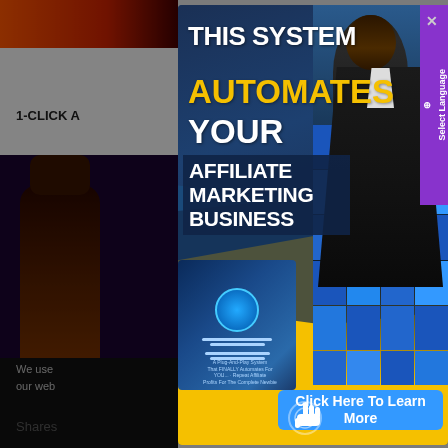[Figure (screenshot): Background website page partially visible on the left side, showing orange/red top image strip, '1-CLICK A...' text, a dark purple/black side panel with a person raising their fist, and bottom dark bar with 'We use... our web...' cookie text and 'Shares' label]
[Figure (infographic): Modal popup advertisement overlay with dark blue and yellow background. Bold white text reads 'THIS SYSTEM AUTOMATES YOUR' and dark-boxed text reads 'AFFILIATE MARKETING BUSINESS'. Right side shows a person standing in front of a video wall. Bottom has a product box image and a blue CTA button 'Click Here To Learn More' with cursor/click icon.]
THIS SYSTEM AUTOMATES YOUR AFFILIATE MARKETING BUSINESS
Click Here To Learn More
1-CLICK A
We use
our web
Shares
Select Language